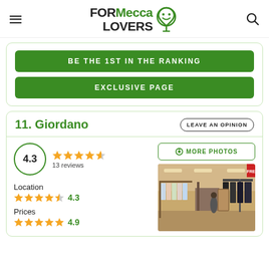FORMecca LOVERS
BE THE 1ST IN THE RANKING
EXCLUSIVE PAGE
11. Giordano
LEAVE AN OPINION
4.3 — 13 reviews
Location 4.3
Prices 4.9
[Figure (photo): Interior of Giordano clothing store showing racks of shirts and clothing]